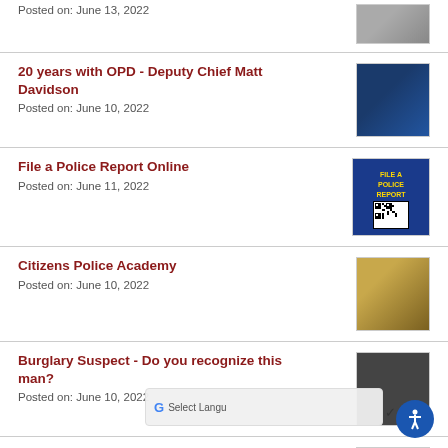Posted on: June 13, 2022
[Figure (photo): Partial photo visible at top of page]
20 years with OPD - Deputy Chief Matt Davidson
Posted on: June 10, 2022
[Figure (photo): Two police officers in ceremony, one holding an award]
File a Police Report Online
Posted on: June 11, 2022
[Figure (photo): Blue banner reading FILE A POLICE REPORT with QR code]
Citizens Police Academy
Posted on: June 10, 2022
[Figure (photo): Group photo of Citizens Police Academy participants]
Burglary Suspect - Do you recognize this man?
Posted on: June 10, 2022
[Figure (photo): Dark surveillance image of burglary suspect]
10 years with OPD - Detective Jonathan Campbell